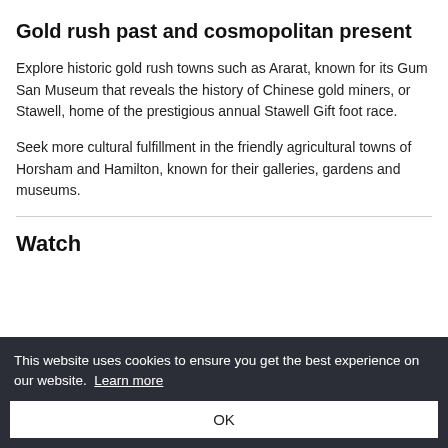Gold rush past and cosmopolitan present
Explore historic gold rush towns such as Ararat, known for its Gum San Museum that reveals the history of Chinese gold miners, or Stawell, home of the prestigious annual Stawell Gift foot race.
Seek more cultural fulfillment in the friendly agricultural towns of Horsham and Hamilton, known for their galleries, gardens and museums.
Watch
This website uses cookies to ensure you get the best experience on our website.  Learn more
OK